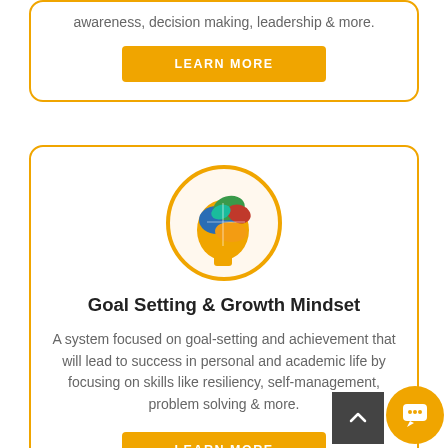awareness, decision making, leadership & more.
LEARN MORE
[Figure (illustration): Colorful brain/head silhouette icon with segmented sections in red, green, blue, orange colors inside a yellow circle border]
Goal Setting & Growth Mindset
A system focused on goal-setting and achievement that will lead to success in personal and academic life by focusing on skills like resiliency, self-management, problem solving & more.
LEARN MORE